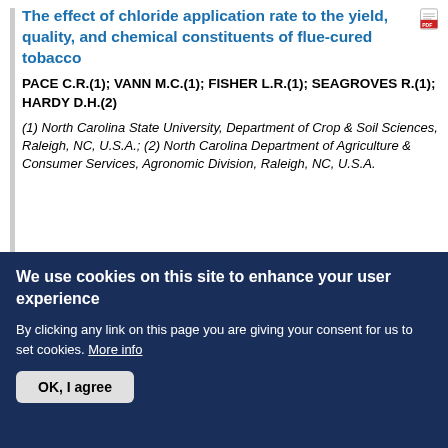The effect of chloride application rate to the yield, quality, and chemical constituents of flue-cured tobacco
PACE C.R.(1); VANN M.C.(1); FISHER L.R.(1); SEAGROVES R.(1); HARDY D.H.(2)
(1) North Carolina State University, Department of Crop & Soil Sciences, Raleigh, NC, U.S.A.; (2) North Carolina Department of Agriculture & Consumer Services, Agronomic Division, Raleigh, NC, U.S.A.
Chloride (Cl-) application rates that exceed 33.6 kg/ha are generally discouraged in the production of flue-cured tobacco due to the negative effects the micronutrient can impart to yield, quality, and smoke flavor/aroma. Despite the negative effects...
We use cookies on this site to enhance your user experience
By clicking any link on this page you are giving your consent for us to set cookies. More info
OK, I agree